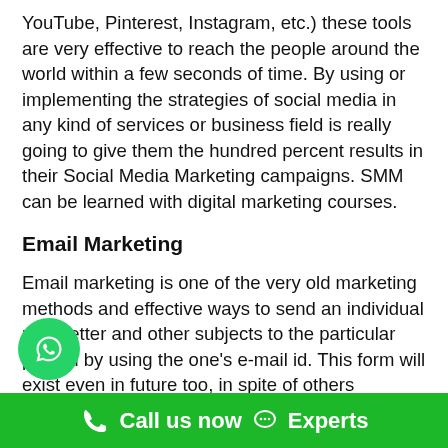YouTube, Pinterest, Instagram, etc.) these tools are very effective to reach the people around the world within a few seconds of time. By using or implementing the strategies of social media in any kind of services or business field is really going to give them the hundred percent results in their Social Media Marketing campaigns. SMM can be learned with digital marketing courses.
Email Marketing
Email marketing is one of the very old marketing methods and effective ways to send an individual newsletter and other subjects to the particular person by using the one's e-mail id. This form will exist even in future too, in spite of others marketing channels, however, the e-mail marketing will be continued as earlier without any hamper. As an email marketing methods are completely different
[Figure (logo): WhatsApp green circle icon]
Call us now  Experts